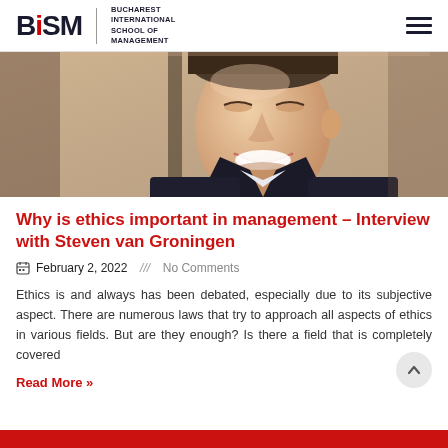BiSM — Bucharest International School of Management
[Figure (photo): Close-up photo of a smiling man in a dark suit, cropped at face/neck level, background is warm beige/tan.]
Why is ethics important in management – Interview with Steven van Groningen
February 2, 2022   /// No Comments
Ethics is and always has been debated, especially due to its subjective aspect. There are numerous laws that try to approach all aspects of ethics in various fields. But are they enough? Is there a field that is completely covered
Read More »